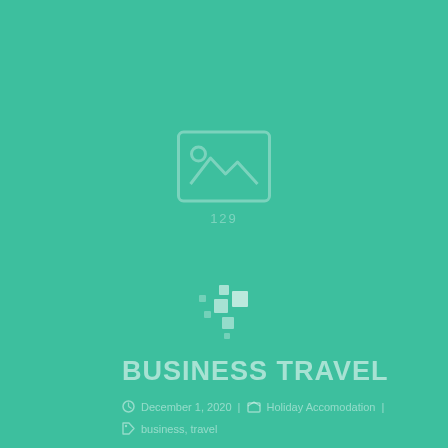[Figure (illustration): Image placeholder icon with mountain/photo symbol inside a rounded rectangle border, with text '129' below it]
[Figure (other): Loading spinner dots icon — small white squares arranged in a diagonal loading pattern]
BUSINESS TRAVEL
December 1, 2020 | Holiday Accomodation | business, travel
[travel leisure and recreation image] Covers the scope and administrative functions of recreation enterprises, together with an evaluation of planning, controlling, and